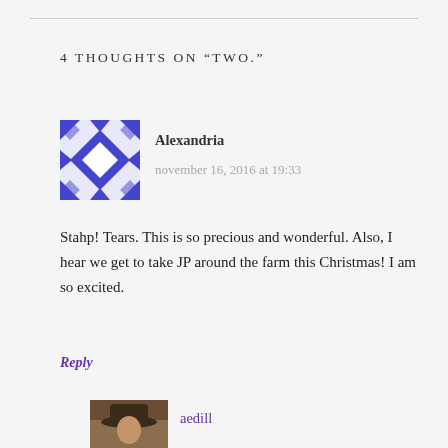4 THOUGHTS ON “TWO.”
[Figure (illustration): Blue and white geometric/diamond pattern avatar for commenter Alexandria]
Alexandria
november 16, 2016 at 19:33
Stahp! Tears. This is so precious and wonderful. Also, I hear we get to take JP around the farm this Christmas! I am so excited.
Reply
[Figure (photo): Photo avatar of commenter aedill, showing a person wearing a hat]
aedill